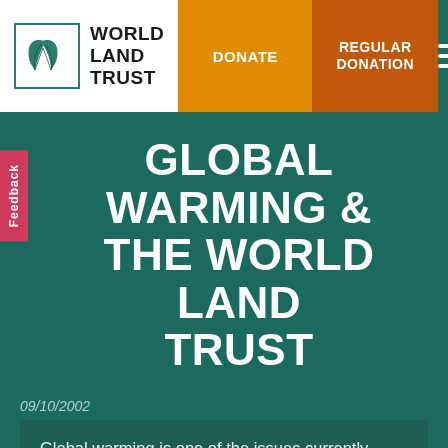[Figure (logo): World Land Trust logo with two green leaves inside a bordered box, next to text reading WORLD LAND TRUST]
DONATE | REGULAR DONATION | Menu
GLOBAL WARMING & THE WORLD LAND TRUST
09/10/2002
Global warming is one of the issues currently dominating media attention. However, there is much debate over the scientific facts of global warming and